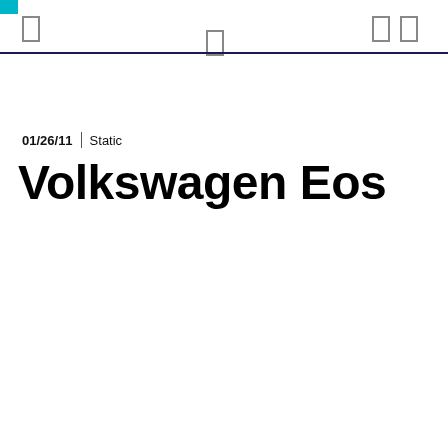01/26/11 | Static
Volkswagen Eos